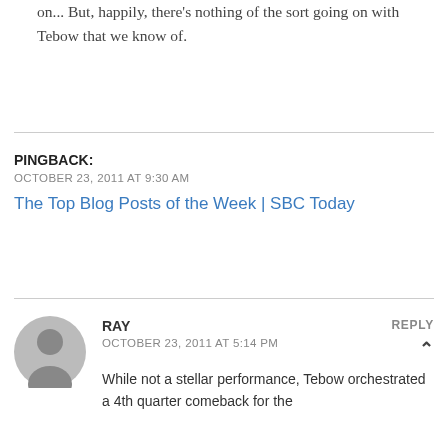on... But, happily, there's nothing of the sort going on with Tebow that we know of.
PINGBACK:
OCTOBER 23, 2011 AT 9:30 AM
The Top Blog Posts of the Week | SBC Today
RAY
OCTOBER 23, 2011 AT 5:14 PM
REPLY
While not a stellar performance, Tebow orchestrated a 4th quarter comeback for the